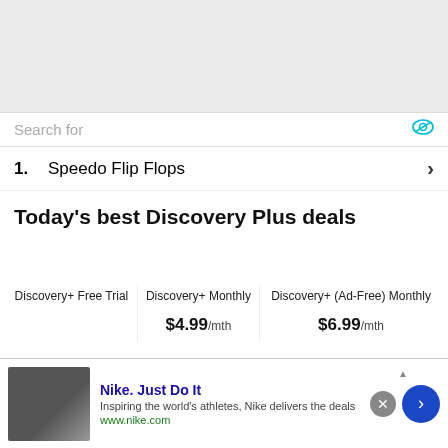[Figure (screenshot): Gray placeholder image area at the top of the page]
Search for
1.  Speedo Flip Flops  ›
Today's best Discovery Plus deals
| Discovery+ Free Trial | Discovery+ Monthly | Discovery+ (Ad-Free) Monthly |
| --- | --- | --- |
|  | $4.99/mth | $6.99/mth |
[Figure (screenshot): Nike advertisement banner at the bottom. Title: Nike. Just Do It. Description: Inspiring the world's athletes, Nike delivers the deals. URL: www.nike.com. Has close button and forward arrow button.]